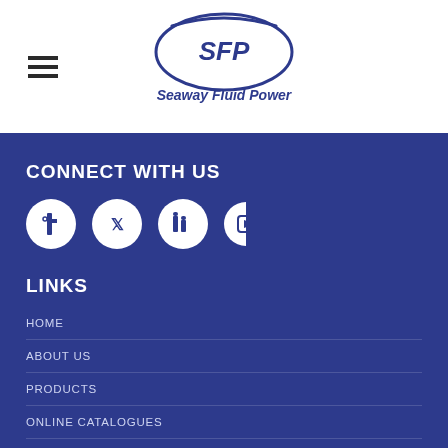[Figure (logo): Seaway Fluid Power (SFP) logo with oval swoosh and company name in dark blue]
CONNECT WITH US
[Figure (infographic): Four white circular social media icon buttons on blue background]
LINKS
HOME
ABOUT US
PRODUCTS
ONLINE CATALOGUES
CONTACT US
BLOG
RESOURCES
CANAMERICAN CASE STUDY